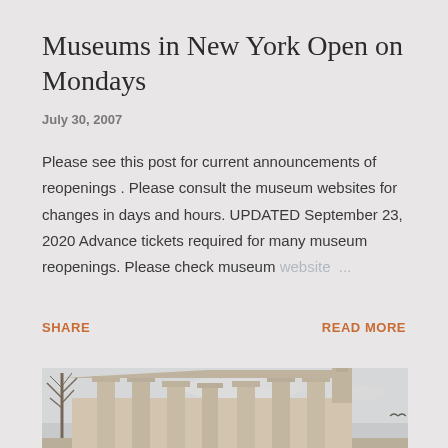Museums in New York Open on Mondays
July 30, 2007
Please see this post for current announcements of reopenings . Please consult the museum websites for changes in days and hours. UPDATED September 23, 2020 Advance tickets required for many museum reopenings. Please check museum website ...
SHARE
READ MORE
[Figure (photo): Exterior photo of a classical museum building with large columns and bare winter trees against a light sky]